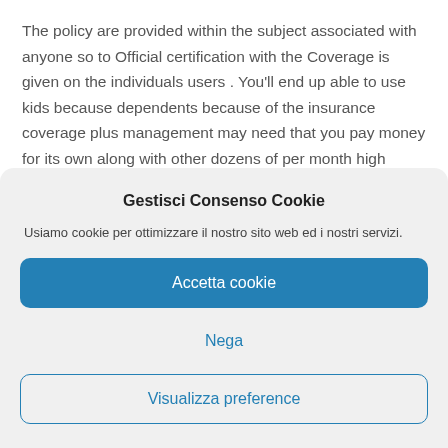The policy are provided within the subject associated with anyone so to Official certification with the Coverage is given on the individuals users . You'll end up able to use kids because dependents because of the insurance coverage plus management may need that you pay money for its own along with other dozens of per month high quality.
Gestisci Consenso Cookie
Usiamo cookie per ottimizzare il nostro sito web ed i nostri servizi.
Accetta cookie
Nega
Visualizza preference